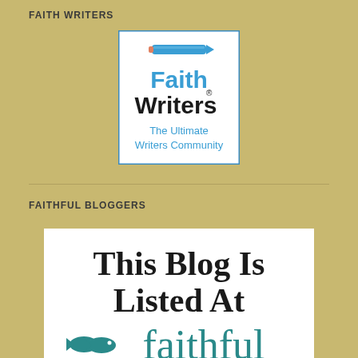FAITH WRITERS
[Figure (logo): FaithWriters logo — blue pencil icon above text 'Faith Writers' in blue and black with registered trademark symbol, subtitle 'The Ultimate Writers Community' in blue, white background with blue border]
FAITHFUL BLOGGERS
[Figure (logo): Faithful Bloggers badge — white background with large serif text reading 'This Blog Is Listed At' and the word 'faithful' in teal with two fish icons to the left]